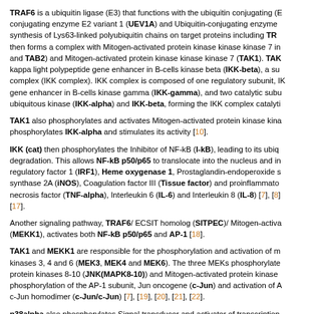TRAF6 is a ubiquitin ligase (E3) that functions with the ubiquitin conjugating (E2) conjugating enzyme E2 variant 1 (UEV1A) and Ubiquitin-conjugating enzyme synthesis of Lys63-linked polyubiquitin chains on target proteins including TRA then forms a complex with Mitogen-activated protein kinase kinase kinase 7 in and TAB2) and Mitogen-activated protein kinase kinase kinase 7 (TAK1). TAK kappa light polypeptide gene enhancer in B-cells kinase beta (IKK-beta), a su complex (IKK complex). IKK complex is composed of one regulatory subunit, I gene enhancer in B-cells kinase gamma (IKK-gamma), and two catalytic subi ubiquitous kinase (IKK-alpha) and IKK-beta, forming the IKK complex catalyti
TAK1 also phosphorylates and activates Mitogen-activated protein kinase kina phosphorylates IKK-alpha and stimulates its activity [10].
IKK (cat) then phosphorylates the Inhibitor of NF-kB (I-kB), leading to its ubiq degradation. This allows NF-kB p50/p65 to translocate into the nucleus and in regulatory factor 1 (IRF1), Heme oxygenase 1, Prostaglandin-endoperoxide s synthase 2A (iNOS), Coagulation factor III (Tissue factor) and proinflammato necrosis factor (TNF-alpha), Interleukin 6 (IL-6) and Interleukin 8 (IL-8) [7], [8] [17].
Another signaling pathway, TRAF6/ ECSIT homolog (SITPEC)/ Mitogen-activa (MEKK1), activates both NF-kB p50/p65 and AP-1 [18].
TAK1 and MEKK1 are responsible for the phosphorylation and activation of m kinases 3, 4 and 6 (MEK3, MEK4 and MEK6). The three MEKs phosphorylate protein kinases 8-10 (JNK(MAPK8-10)) and Mitogen-activated protein kinase phosphorylation of the AP-1 subunit, Jun oncogene (c-Jun) and activation of A c-Jun homodimer (c-Jun/c-Jun) [7], [19], [20], [21], [22].
p38alpha also phosphorylates Signal transducer and activator of transcription IRF1 expression. STAT1 and IRF1 are involved in iNOS expression [13], [19]